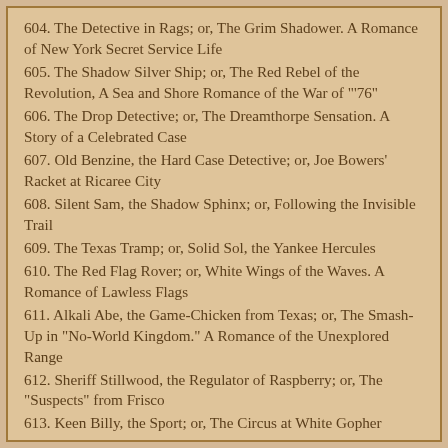604. The Detective in Rags; or, The Grim Shadower. A Romance of New York Secret Service Life
605. The Shadow Silver Ship; or, The Red Rebel of the Revolution, A Sea and Shore Romance of the War of "'76"
606. The Drop Detective; or, The Dreamthorpe Sensation. A Story of a Celebrated Case
607. Old Benzine, the Hard Case Detective; or, Joe Bowers' Racket at Ricaree City
608. Silent Sam, the Shadow Sphinx; or, Following the Invisible Trail
609. The Texas Tramp; or, Solid Sol, the Yankee Hercules
610. The Red Flag Rover; or, White Wings of the Waves. A Romance of Lawless Flags
611. Alkali Abe, the Game-Chicken from Texas; or, The Smash-Up in "No-World Kingdom." A Romance of the Unexplored Range
612. Sheriff Stillwood, the Regulator of Raspberry; or, The "Suspects" from Frisco
613. Keen Billy, the Sport; or, The Circus at White Gopher
614. The Showman Detective; or, The Mad Magician
615. The Three Buccaneers; or, The Ocean Outlaw's